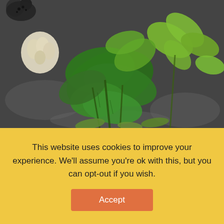[Figure (photo): Close-up photo of various fresh herbs (mint, coriander, thyme) and garlic on a dark granite surface]
Lifestyle TIP 8 - Spice up to boost your immunity
www.belenoptimumhealth.com
Aromatic herbs and spices have a great role to boost...
This website uses cookies to improve your experience. We'll assume you're ok with this, but you can opt-out if you wish. Accept